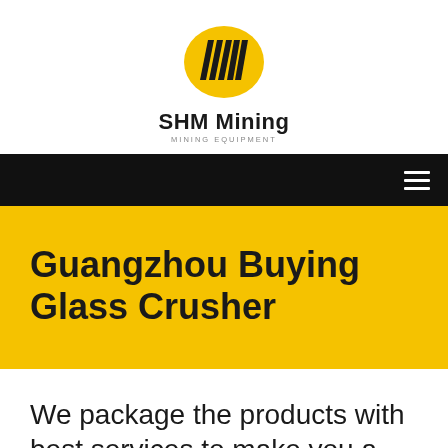[Figure (logo): SHM Mining logo: yellow oval with black diagonal lines/stripes forming abstract M shape, with text 'SHM Mining' and 'MINING EQUIPMENT' below]
Guangzhou Buying Glass Crusher
We package the products with best services to make you a happy